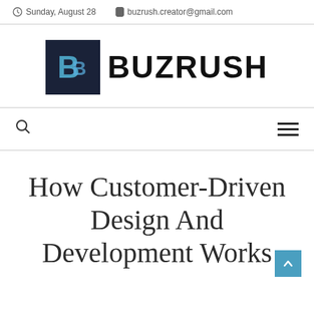Sunday, August 28   buzrush.creator@gmail.com
[Figure (logo): Buzrush logo — dark navy square with stylized B letter in blue, followed by bold text BUZRUSH]
How Customer-Driven Design And Development Works